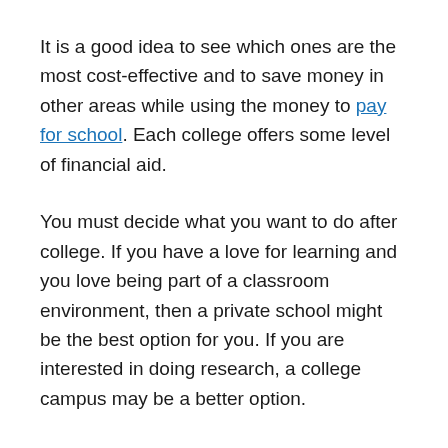It is a good idea to see which ones are the most cost-effective and to save money in other areas while using the money to pay for school. Each college offers some level of financial aid.
You must decide what you want to do after college. If you have a love for learning and you love being part of a classroom environment, then a private school might be the best option for you. If you are interested in doing research, a college campus may be a better option.